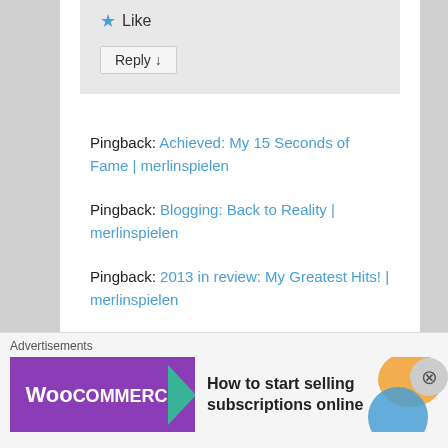Like
Reply ↓
Pingback: Achieved: My 15 Seconds of Fame | merlinspielen
Pingback: Blogging: Back to Reality | merlinspielen
Pingback: 2013 in review: My Greatest Hits! | merlinspielen
Advertisements
[Figure (other): Longreads advertisement banner: red background with Longreads logo and tagline 'The best stories on the web — ours, and everyone else's.']
Advertisements
[Figure (other): WooCommerce advertisement: purple left panel with WooCommerce logo and green arrow, right panel with text 'How to start selling subscriptions online' and orange/blue decorative circles.]